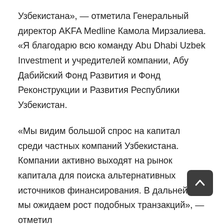Узбекистана», — отметила Генеральный директор AKFA Medline Камола Мирзалиева. «Я благодарю всю команду Abu Dhabi Uzbek Investment и учредителей компании, Абу Дабийский Фонд Развития и Фонд Реконструкции и Развития Республики Узбекистан.
«Мы видим большой спрос на капитал среди частных компаний Узбекистана. Компании активно выходят на рынок капитала для поиска альтернативных источников финансирования. В дальнейшем мы ожидаем рост подобных транзакций», — отметил